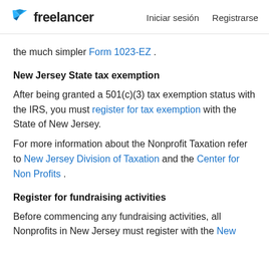freelancer   Iniciar sesión   Registrarse
the much simpler Form 1023-EZ .
New Jersey State tax exemption
After being granted a 501(c)(3) tax exemption status with the IRS, you must register for tax exemption with the State of New Jersey.
For more information about the Nonprofit Taxation refer to New Jersey Division of Taxation and the Center for Non Profits .
Register for fundraising activities
Before commencing any fundraising activities, all Nonprofits in New Jersey must register with the New Jersey Division of Consumer Affairs .